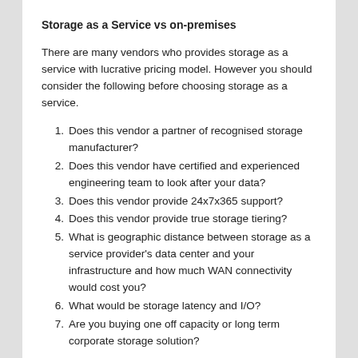Storage as a Service vs on-premises
There are many vendors who provides storage as a service with lucrative pricing model. However you should consider the following before choosing storage as a service.
Does this vendor a partner of recognised storage manufacturer?
Does this vendor have certified and experienced engineering team to look after your data?
Does this vendor provide 24x7x365 support?
Does this vendor provide true storage tiering?
What is geographic distance between storage as a service provider's data center and your infrastructure and how much WAN connectivity would cost you?
What would be storage latency and I/O?
Are you buying one off capacity or long term corporate storage solution?